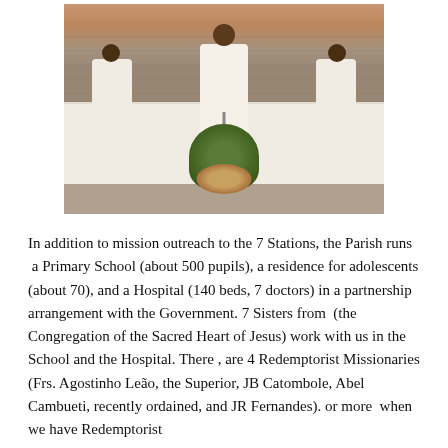[Figure (photo): Three men in white religious vestments at an altar, center figure appears to be speaking into a microphone. A floral arrangement is in the foreground. Stone wall background.]
In addition to mission outreach to the 7 Stations, the Parish runs  a Primary School (about 500 pupils), a residence for adolescents (about 70), and a Hospital (140 beds, 7 doctors) in a partnership arrangement with the Government. 7 Sisters from  (the Congregation of the Sacred Heart of Jesus) work with us in the School and the Hospital. There , are 4 Redemptorist Missionaries (Frs. Agostinho Leão, the Superior, JB Catombole, Abel Cambueti, recently ordained, and JR Fernandes). or more  when we have Redemptorist